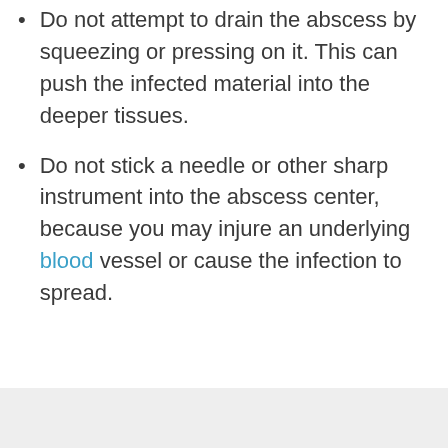Do not attempt to drain the abscess by squeezing or pressing on it. This can push the infected material into the deeper tissues.
Do not stick a needle or other sharp instrument into the abscess center, because you may injure an underlying blood vessel or cause the infection to spread.